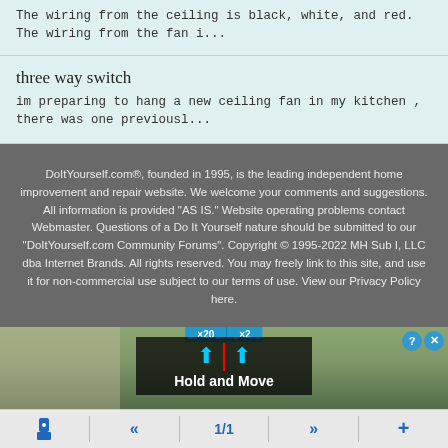The wiring from the ceiling is black, white, and red. The wiring from the fan i...
three way switch
im preparing to hang a new ceiling fan in my kitchen , there was one previousl...
DoItYourself.com®, founded in 1995, is the leading independent home improvement and repair website. We welcome your comments and suggestions. All information is provided "AS IS." Website operating problems contact Webmaster. Questions of a Do It Yourself nature should be submitted to our "DoItYourself.com Community Forums". Copyright © 1995-2022 MH Sub I, LLC dba Internet Brands. All rights reserved. You may freely link to this site, and use it for non-commercial use subject to our terms of use. View our Privacy Policy here.
[Figure (screenshot): Advertisement banner showing 'Hold and Move' app/game with blue figures on a dark background with trees in the background, plus close/help buttons]
1/1